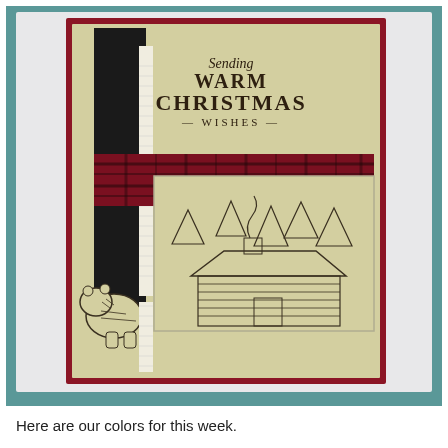[Figure (photo): A handmade Christmas card featuring cream/tan cardstock base with a dark red (cranberry) border. Layered elements include: a vertical black strip with a white ribbon/lace piece, a horizontal buffalo plaid (red and black check) strip, a stamped scene of a log cabin with snow-covered trees and smoke from chimney, a die-cut bear figure in the lower left, and stamped text reading 'Sending WARM CHRISTMAS – WISHES –' in decorative fonts on the upper right. The card is photographed on a light gray surface with teal/green background visible on sides.]
Here are our colors for this week.